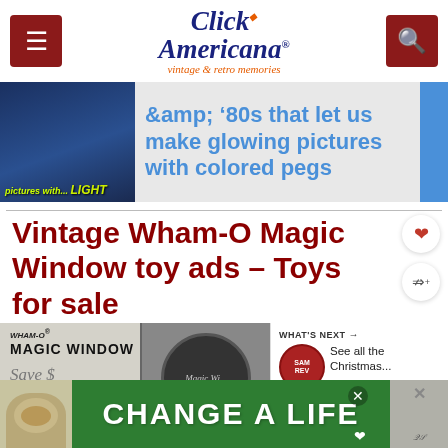Click Americana – vintage & retro memories
[Figure (screenshot): Partial banner image showing a toy with colored pegs and light, with text: '&amp; '80s that let us make glowing pictures with colored pegs']
Vintage Wham-O Magic Window toy ads – Toys for sale
[Figure (photo): Bottom portion of a Wham-O Magic Window toy advertisement showing the brand name, product title 'MAGIC WINDOW', and partial 'Save $' text]
WHAT'S NEXT → See all the Christmas...